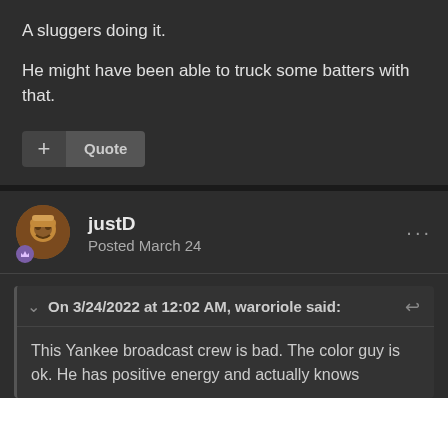A sluggers doing it.
He might have been able to truck some batters with that.
+ Quote
justD
Posted March 24
On 3/24/2022 at 12:02 AM, waroriole said:
This Yankee broadcast crew is bad. The color guy is ok. He has positive energy and actually knows